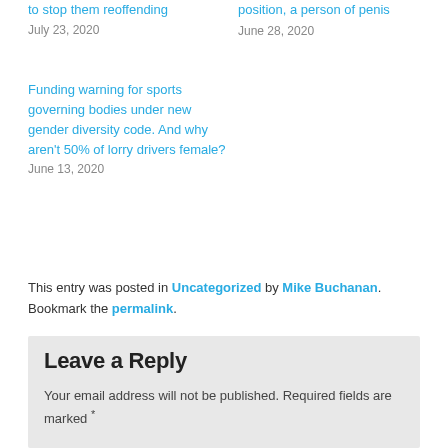to stop them reoffending
July 23, 2020
position, a person of penis
June 28, 2020
Funding warning for sports governing bodies under new gender diversity code. And why aren't 50% of lorry drivers female?
June 13, 2020
This entry was posted in Uncategorized by Mike Buchanan. Bookmark the permalink.
Leave a Reply
Your email address will not be published. Required fields are marked *